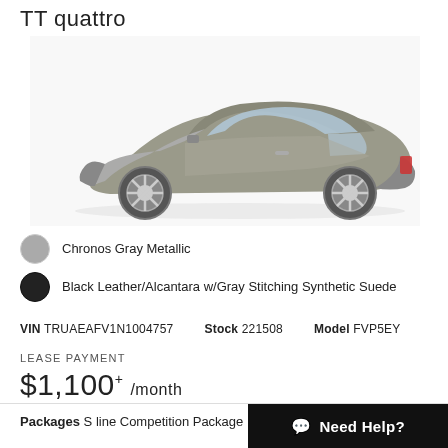TT quattro
[Figure (photo): Side profile photo of a silver/gray Audi TT quattro coupe on a white background]
Chronos Gray Metallic
Black Leather/Alcantara w/Gray Stitching Synthetic Suede
VIN TRUAEAFV1N1004757   Stock 221508   Model FVP5EY
LEASE PAYMENT
$1,100+ /month
Packages S line Competition Package
Need Help?